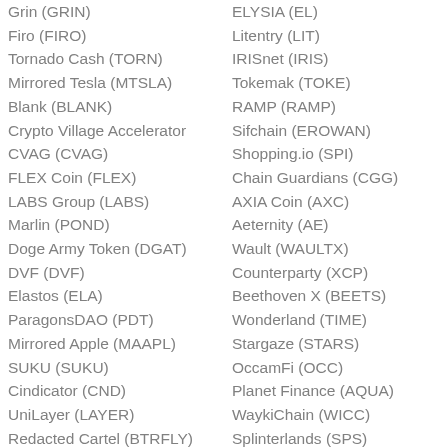Grin (GRIN)
ELYSIA (EL)
Firo (FIRO)
Litentry (LIT)
Tornado Cash (TORN)
IRISnet (IRIS)
Mirrored Tesla (MTSLA)
Tokemak (TOKE)
Blank (BLANK)
RAMP (RAMP)
Crypto Village Accelerator
Sifchain (EROWAN)
CVAG (CVAG)
Shopping.io (SPI)
FLEX Coin (FLEX)
Chain Guardians (CGG)
LABS Group (LABS)
AXIA Coin (AXC)
Marlin (POND)
Aeternity (AE)
Doge Army Token (DGAT)
Wault (WAULTX)
DVF (DVF)
Counterparty (XCP)
Elastos (ELA)
Beethoven X (BEETS)
ParagonsDAO (PDT)
Wonderland (TIME)
Mirrored Apple (MAAPL)
Stargaze (STARS)
SUKU (SUKU)
OccamFi (OCC)
Cindicator (CND)
Planet Finance (AQUA)
UniLayer (LAYER)
WaykiChain (WICC)
Redacted Cartel (BTRFLY)
Splinterlands (SPS)